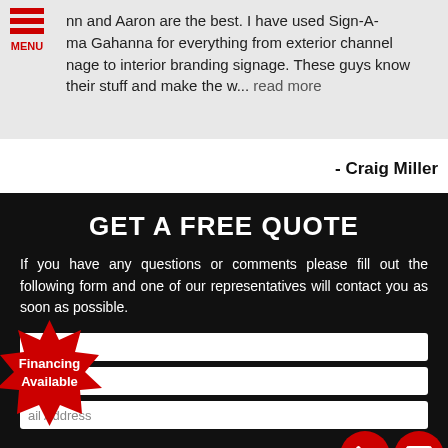nn and Aaron are the best. I have used Sign-A-ma Gahanna for everything from exterior channel nage to interior branding signage. These guys know their stuff and make the w... read more
- Craig Miller
GET A FREE QUOTE
If you have any questions or comments please fill out the following form and one of our representatives will contact you as soon as possible.
[Figure (infographic): Red starburst badge with white bold text 'Financing Available']
[Figure (infographic): Red circular phone button icon and red circular email/envelope button icon]